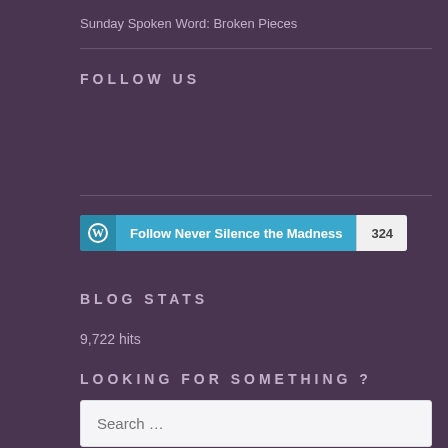Sunday Spoken Word: Broken Pieces
FOLLOW US
[Figure (other): WordPress Follow button for 'Never Silence the Madness' with 324 followers count badge]
BLOG STATS
9,722 hits
LOOKING FOR SOMETHING ?
Search ...